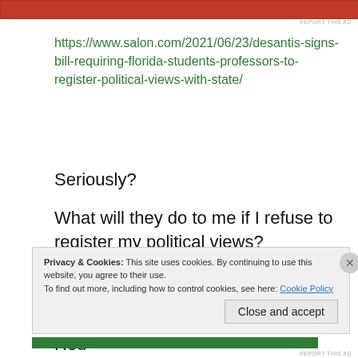[Figure (other): Red advertisement banner at top of page]
REPORT THIS AD
https://www.salon.com/2021/06/23/desantis-signs-bill-requiring-florida-students-professors-to-register-political-views-with-state/
Seriously?
What will they do to me if I refuse to register my political views?
Mr. DeSantis......BITE ME!
This could become a thing for all Red
Privacy & Cookies: This site uses cookies. By continuing to use this website, you agree to their use.
To find out more, including how to control cookies, see here: Cookie Policy
Close and accept